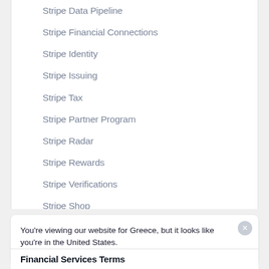Stripe Data Pipeline
Stripe Financial Connections
Stripe Identity
Stripe Issuing
Stripe Tax
Stripe Partner Program
Stripe Radar
Stripe Rewards
Stripe Verifications
Stripe Shop
Stripe Terminal
Terminal Purchase Terms
You're viewing our website for Greece, but it looks like you're in the United States.
Switch to the United States site >
Financial Services Terms